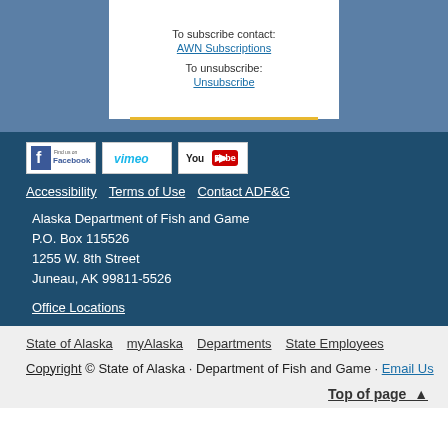To subscribe contact:
AWN Subscriptions
To unsubscribe:
Unsubscribe
[Figure (logo): Facebook Find us on Facebook logo badge]
[Figure (logo): Vimeo logo badge]
[Figure (logo): YouTube logo badge]
Accessibility   Terms of Use   Contact ADF&G
Alaska Department of Fish and Game
P.O. Box 115526
1255 W. 8th Street
Juneau, AK 99811-5526
Office Locations
State of Alaska   myAlaska   Departments   State Employees
Copyright © State of Alaska · Department of Fish and Game · Email Us
Top of page ▲